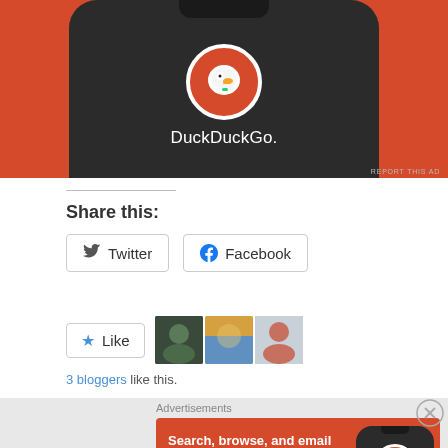[Figure (screenshot): DuckDuckGo advertisement showing app on a phone with orange background]
REPORT THIS AD
Share this:
Twitter
Facebook
[Figure (screenshot): Like button with star icon and three blogger avatars]
3 bloggers like this.
Advertisements
[Figure (screenshot): DuckDuckGo advertisement: Search, browse, and email with more privacy. All in One Free App]